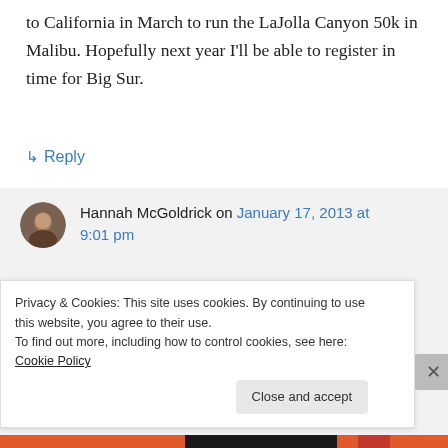to California in March to run the LaJolla Canyon 50k in Malibu. Hopefully next year I'll be able to register in time for Big Sur.
↳ Reply
Hannah McGoldrick on January 17, 2013 at 9:01 pm
Thank you! It's too bad you weren't able to register in time but I'm sure the Malibu
Privacy & Cookies: This site uses cookies. By continuing to use this website, you agree to their use.
To find out more, including how to control cookies, see here: Cookie Policy
Close and accept